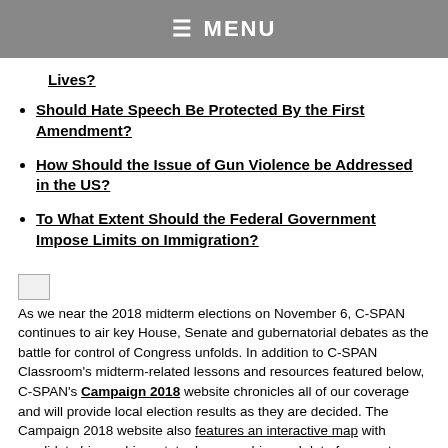☰ MENU
Lives?
Should Hate Speech Be Protected By the First Amendment?
How Should the Issue of Gun Violence be Addressed in the US?
To What Extent Should the Federal Government Impose Limits on Immigration?
[Figure (photo): Small image thumbnail (broken/placeholder image)]
As we near the 2018 midterm elections on November 6, C-SPAN continues to air key House, Senate and gubernatorial debates as the battle for control of Congress unfolds. In addition to C-SPAN Classroom's midterm-related lessons and resources featured below, C-SPAN's Campaign 2018 website chronicles all of our coverage and will provide local election results as they are decided. The Campaign 2018 website also features an interactive map with candidate biographies, state demographics and data from past elections.